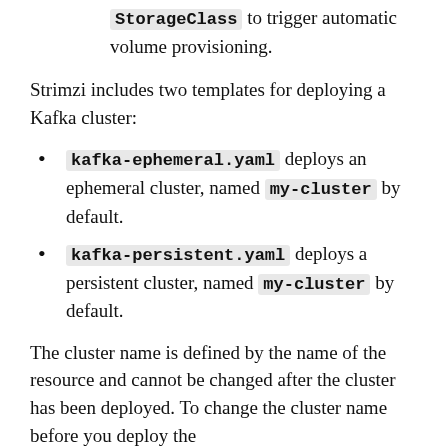StorageClass to trigger automatic volume provisioning.
Strimzi includes two templates for deploying a Kafka cluster:
kafka-ephemeral.yaml deploys an ephemeral cluster, named my-cluster by default.
kafka-persistent.yaml deploys a persistent cluster, named my-cluster by default.
The cluster name is defined by the name of the resource and cannot be changed after the cluster has been deployed. To change the cluster name before you deploy the